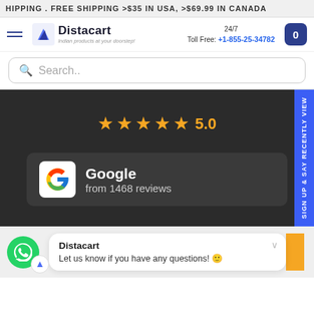HIPPING . FREE SHIPPING >$35 IN USA, >$69.99 IN CANADA
[Figure (logo): Distacart logo with hamburger menu, 24/7 Toll Free phone number +1-855-25-34782 and cart button]
Search..
[Figure (infographic): Dark background section showing 5-star rating of 5.0, Google logo with 'from 1468 reviews', and a side tab reading 'Sign up & say recently view']
Distacart
Let us know if you have any questions! 😊